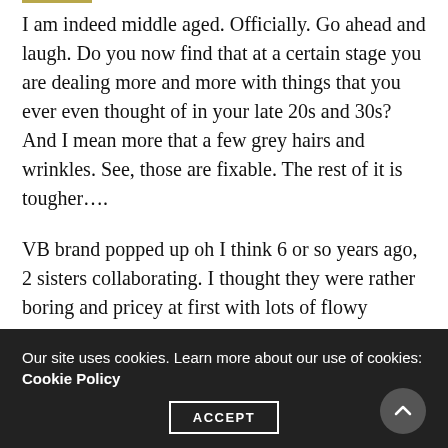I am indeed middle aged. Officially. Go ahead and laugh. Do you now find that at a certain stage you are dealing more and more with things that you ever even thought of in your late 20s and 30s? And I mean more that a few grey hairs and wrinkles. See, those are fixable. The rest of it is tougher….
VB brand popped up oh I think 6 or so years ago, 2 sisters collaborating. I thought they were rather boring and pricey at first with lots of flowy balloon sleeves and other oddities. Then I saw this jacket on Instagram and fell in love. Still really pricey though tear…. LOVE the fit
Our site uses cookies. Learn more about our use of cookies: Cookie Policy  ACCEPT